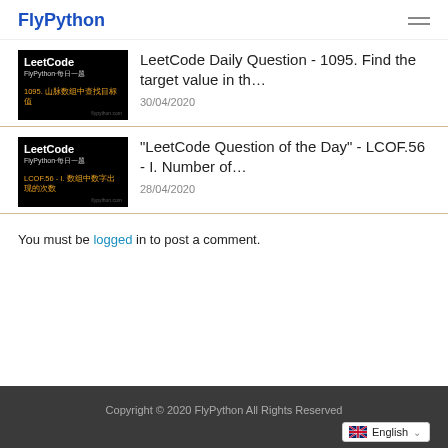FlyPython
[Figure (screenshot): Thumbnail image for LeetCode Daily Question 1095, black background with LeetCode title in white, FlyPython subtitle, and Chinese text in orange]
LeetCode Daily Question - 1095. Find the target value in th…
30/04/2020
[Figure (screenshot): Thumbnail image for LeetCode Question of the Day LCOF.56, black background with LeetCode title in white, FlyPython subtitle, and Chinese text in orange]
"LeetCode Question of the Day" - LCOF.56 - I. Number of…
28/04/2020
You must be logged in to post a comment.
Copyright © 2020 FlyPython All Rights Reserved